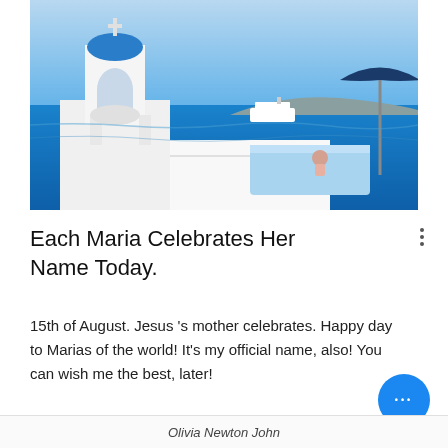[Figure (photo): Santorini scene with white bell tower with blue dome, infinity pool with person relaxing, blue sea with cruise ship, and dark blue umbrella in background]
Each Maria Celebrates Her Name Today.
15th of August. Jesus 's mother celebrates. Happy day to Marias of the world! It's my official name, also! You can wish me the best, later!
Olivia Newton John